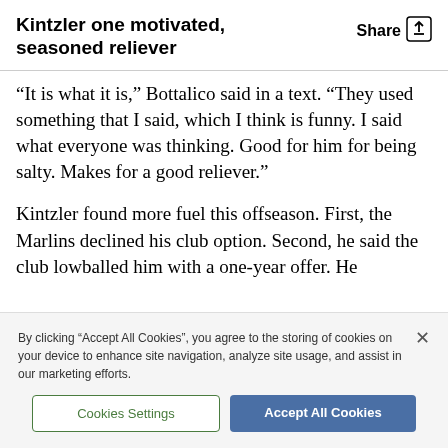Kintzler one motivated, seasoned reliever
“It is what it is,” Bottalico said in a text. “They used something that I said, which I think is funny. I said what everyone was thinking. Good for him for being salty. Makes for a good reliever.”
Kintzler found more fuel this offseason. First, the Marlins declined his club option. Second, he said the club lowballed him with a one-year offer. He
By clicking “Accept All Cookies”, you agree to the storing of cookies on your device to enhance site navigation, analyze site usage, and assist in our marketing efforts.
Cookies Settings
Accept All Cookies